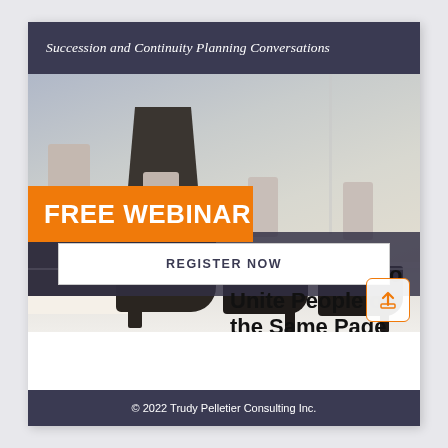Succession and Continuity Planning Conversations
[Figure (photo): Photo of several people's feet and lower legs wearing business shoes/heels, standing on a light-colored floor with a wall in the background.]
FREE WEBINAR
Discover How to Unite People on the Same Page
REGISTER NOW
© 2022 Trudy Pelletier Consulting Inc.